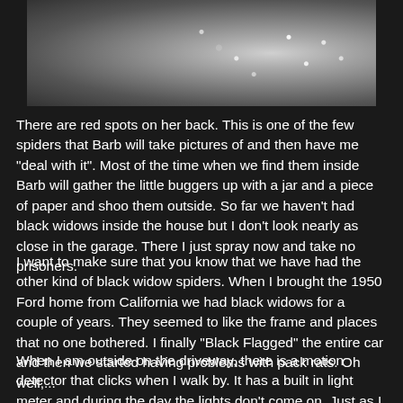[Figure (photo): Close-up photograph of a spider, likely a black widow, showing textured surface with bright reflective spots]
There are red spots on her back. This is one of the few spiders that Barb will take pictures of and then have me "deal with it". Most of the time when we find them inside Barb will gather the little buggers up with a jar and a piece of paper and shoo them outside. So far we haven't had black widows inside the house but I don't look nearly as close in the garage. There I just spray now and take no prisoners.
I want to make sure that you know that we have had the other kind of black widow spiders. When I brought the 1950 Ford home from California we had black widows for a couple of years. They seemed to like the frame and places that no one bothered. I finally "Black Flagged" the entire car and then we started having problems with pack rats. Oh well,...
When I am outside on the driveway, there is a motion detector that clicks when I walk by. It has a built in light meter and during the day the lights don't come on. Just as I